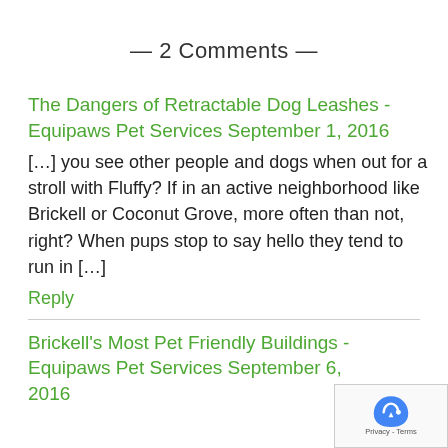— 2 Comments —
The Dangers of Retractable Dog Leashes - Equipaws Pet Services September 1, 2016
[…] you see other people and dogs when out for a stroll with Fluffy? If in an active neighborhood like Brickell or Coconut Grove, more often than not, right? When pups stop to say hello they tend to run in […]
Reply
Brickell's Most Pet Friendly Buildings - Equipaws Pet Services September 6, 2016